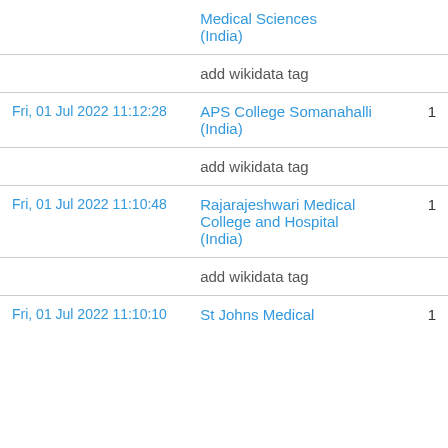| Date | Organization | Count |
| --- | --- | --- |
|  | Medical Sciences (India) |  |
|  | add wikidata tag |  |
| Fri, 01 Jul 2022 11:12:28 | APS College Somanahalli (India) | 1 |
|  | add wikidata tag |  |
| Fri, 01 Jul 2022 11:10:48 | Rajarajeshwari Medical College and Hospital (India) | 1 |
|  | add wikidata tag |  |
| Fri, 01 Jul 2022 11:10:10 | St Johns Medical | 1 |